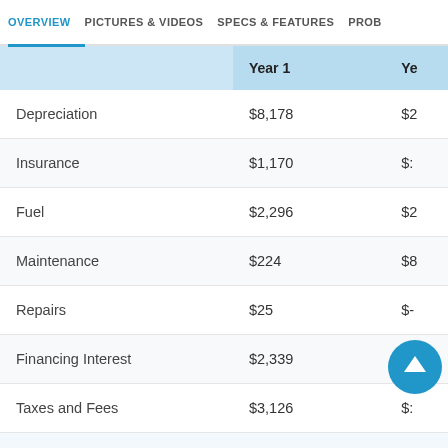OVERVIEW | PICTURES & VIDEOS | SPECS & FEATURES | PROB
|  | Year 1 | Ye |
| --- | --- | --- |
| Depreciation | $8,178 | $2 |
| Insurance | $1,170 | $: |
| Fuel | $2,296 | $2 |
| Maintenance | $224 | $8 |
| Repairs | $25 | $- |
| Financing Interest | $2,339 | $c |
| Taxes and Fees | $3,126 | $: |
To see great deals on near you
Enter your zip | Submit